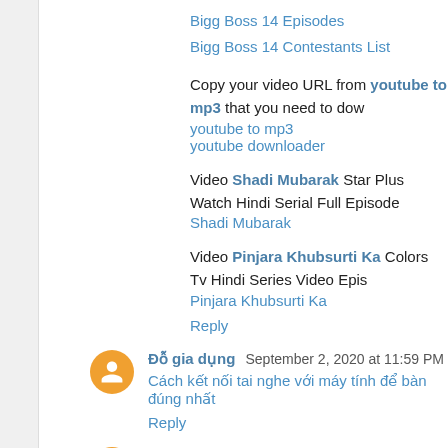Bigg Boss 14 Episodes
Bigg Boss 14 Contestants List
Copy your video URL from youtube to mp3 that you need to download
youtube to mp3
youtube downloader
Video Shadi Mubarak Star Plus Watch Hindi Serial Full Episode
Shadi Mubarak
Video Pinjara Khubsurti Ka Colors Tv Hindi Series Video Epis...
Pinjara Khubsurti Ka
Reply
Đỗ gia dụng  September 2, 2020 at 11:59 PM
Cách kết nối tai nghe với máy tính để bàn đúng nhất
Reply
unknown  September 3, 2020 at 12:01 AM